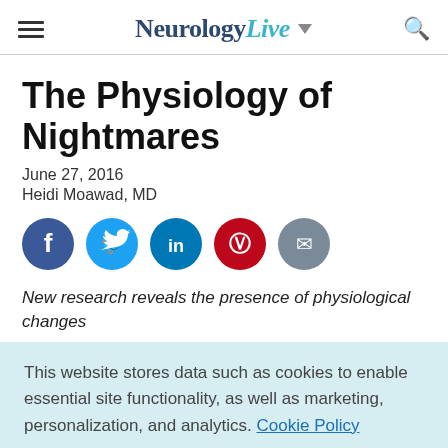NeurologyLive
The Physiology of Nightmares
June 27, 2016
Heidi Moawad, MD
[Figure (infographic): Social sharing icons: Facebook (blue circle), Twitter (light blue circle), LinkedIn (teal circle), Pinterest (red circle), Email (grey circle)]
New research reveals the presence of physiological changes
This website stores data such as cookies to enable essential site functionality, as well as marketing, personalization, and analytics. Cookie Policy
Accept
Deny